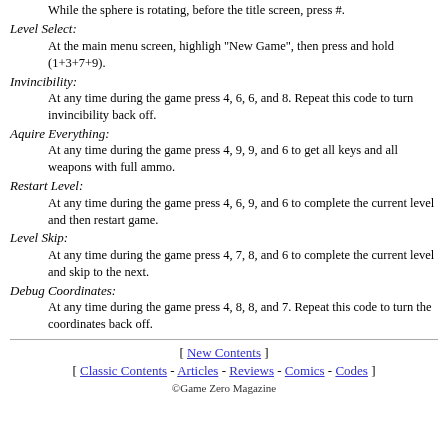While the sphere is rotating, before the title screen, press #.
Level Select: At the main menu screen, highligh "New Game", then press and hold (1+3+7+9).
Invincibility: At any time during the game press 4, 6, 6, and 8. Repeat this code to turn invincibility back off.
Aquire Everything: At any time during the game press 4, 9, 9, and 6 to get all keys and all weapons with full ammo.
Restart Level: At any time during the game press 4, 6, 9, and 6 to complete the current level and then restart game.
Level Skip: At any time during the game press 4, 7, 8, and 6 to complete the current level and skip to the next.
Debug Coordinates: At any time during the game press 4, 8, 8, and 7. Repeat this code to turn the coordinates back off.
[ New Contents ] [ Classic Contents - Articles - Reviews - Comics - Codes ] ©Game Zero Magazine